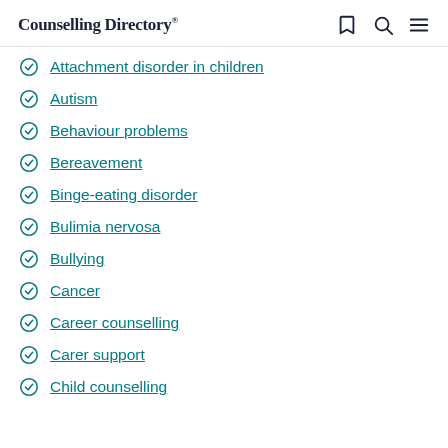Counselling Directory
Attachment disorder in children
Autism
Behaviour problems
Bereavement
Binge-eating disorder
Bulimia nervosa
Bullying
Cancer
Career counselling
Carer support
Child counselling